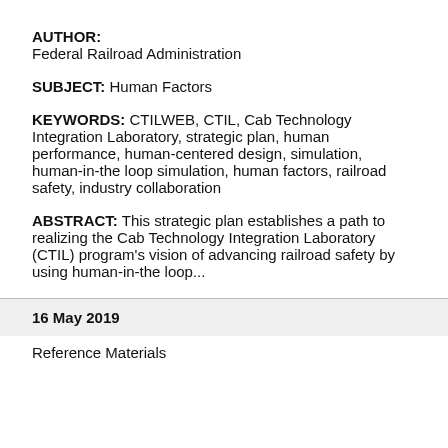AUTHOR: Federal Railroad Administration
SUBJECT: Human Factors
KEYWORDS: CTILWEB, CTIL, Cab Technology Integration Laboratory, strategic plan, human performance, human-centered design, simulation, human-in-the loop simulation, human factors, railroad safety, industry collaboration
ABSTRACT: This strategic plan establishes a path to realizing the Cab Technology Integration Laboratory (CTIL) program’s vision of advancing railroad safety by using human-in-the loop...
16 May 2019
Reference Materials